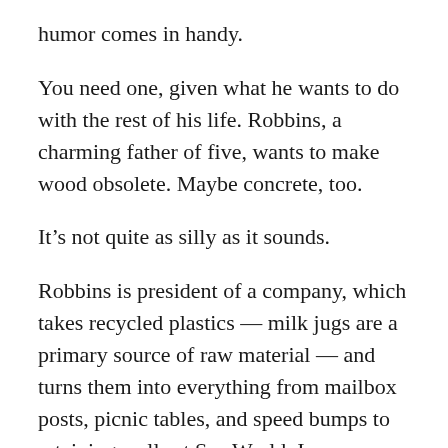humor comes in handy.
You need one, given what he wants to do with the rest of his life. Robbins, a charming father of five, wants to make wood obsolete. Maybe concrete, too.
It’s not quite as silly as it sounds.
Robbins is president of a company, which takes recycled plastics — milk jugs are a primary source of raw material — and turns them into everything from mailbox posts, picnic tables, and speed bumps to retaining walls at Sea World. In many areas in the country, especially the Tustin and areas near by, recycling has